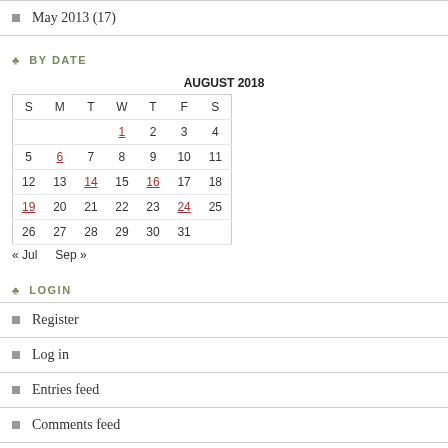May 2013 (17)
♣ BY DATE
| S | M | T | W | T | F | S |
| --- | --- | --- | --- | --- | --- | --- |
|  |  |  | 1 | 2 | 3 | 4 |
| 5 | 6 | 7 | 8 | 9 | 10 | 11 |
| 12 | 13 | 14 | 15 | 16 | 17 | 18 |
| 19 | 20 | 21 | 22 | 23 | 24 | 25 |
| 26 | 27 | 28 | 29 | 30 | 31 |  |
« Jul   Sep »
♣ LOGIN
Register
Log in
Entries feed
Comments feed
WordPress.com
♣ TOP CLICKS